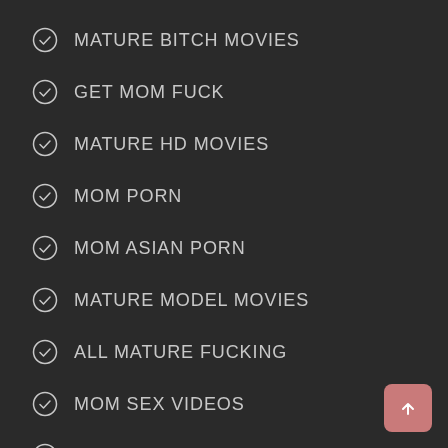MATURE BITCH MOVIES
GET MOM FUCK
MATURE HD MOVIES
MOM PORN
MOM ASIAN PORN
MATURE MODEL MOVIES
ALL MATURE FUCKING
MOM SEX VIDEOS
MOM ASIAN VIDEO